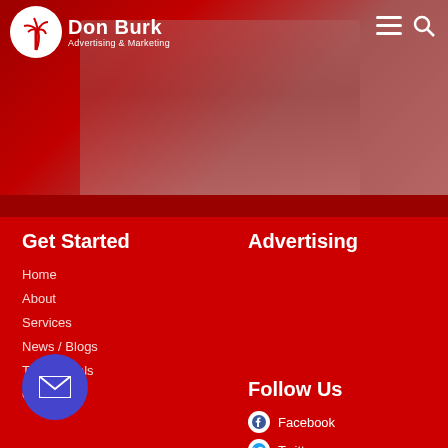[Figure (screenshot): Hero banner photo showing people in an office/meeting environment, overlaid with a semi-transparent red tint. Don Burk Advertising & Marketing logo with palm tree icon in top left, hamburger menu and search icons in top right.]
Don Burk Advertising & Marketing
Get Started
Home
About
Services
News / Blogs
Testimonials
Contact
Advertising
Marketing
Follow Us
Facebook
Twitter